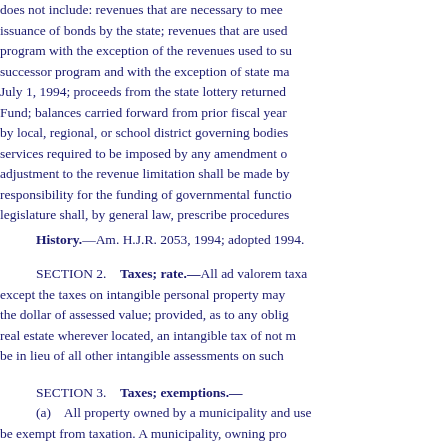does not include: revenues that are necessary to meet issuance of bonds by the state; revenues that are used program with the exception of the revenues used to su successor program and with the exception of state ma July 1, 1994; proceeds from the state lottery returned Fund; balances carried forward from prior fiscal year by local, regional, or school district governing bodies services required to be imposed by any amendment o adjustment to the revenue limitation shall be made by responsibility for the funding of governmental functio legislature shall, by general law, prescribe procedures
History.—Am. H.J.R. 2053, 1994; adopted 1994.
SECTION 2.    Taxes; rate.—
All ad valorem taxa except the taxes on intangible personal property may the dollar of assessed value; provided, as to any oblig real estate wherever located, an intangible tax of not m be in lieu of all other intangible assessments on such
SECTION 3.    Taxes; exemptions.—
(a)    All property owned by a municipality and use be exempt from taxation. A municipality, owning pro law to make payment to the taxing unit in which the p predominantly for educational, literary, scientific, reli